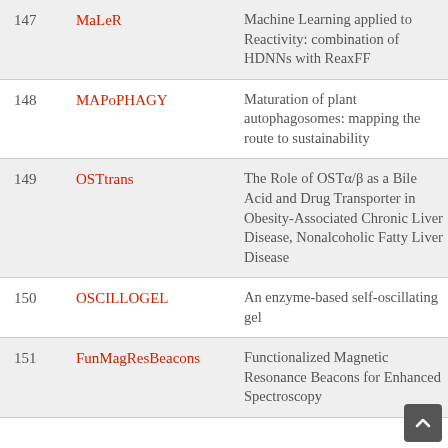| # | Name | Description |
| --- | --- | --- |
| 147 | MaLeR | Machine Learning applied to Reactivity: combination of HDNNs with ReaxFF |
| 148 | MAPoPHAGY | Maturation of plant autophagosomes: mapping the route to sustainability |
| 149 | OSTtrans | The Role of OSTα/β as a Bile Acid and Drug Transporter in Obesity-Associated Chronic Liver Disease, Nonalcoholic Fatty Liver Disease |
| 150 | OSCILLOGEL | An enzyme-based self-oscillating gel |
| 151 | FunMagResBeacons | Functionalized Magnetic Resonance Beacons for Enhanced Spectroscopy |